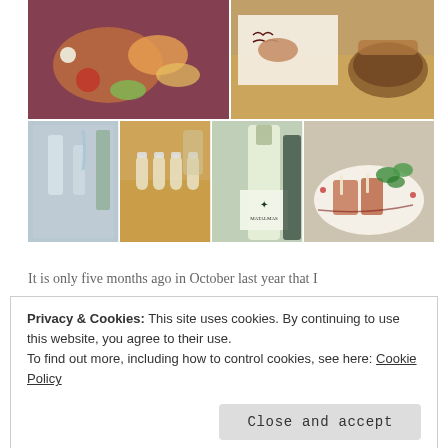[Figure (photo): A 2x2 grid of food and dining photos: top-left shows colorful plated food on purple background; top-right shows hands writing on paper with bread in a bowl; bottom-left shows wine glasses and bottles with water being poured; bottom-center shows small sample bottles on wooden table; bottom-right shows a wine bottle labeled MATALMAS; far bottom-right shows a plated meat dish with greens.]
It is only five months ago in October last year that I
Privacy & Cookies: This site uses cookies. By continuing to use this website, you agree to their use.
To find out more, including how to control cookies, see here: Cookie Policy
Close and accept